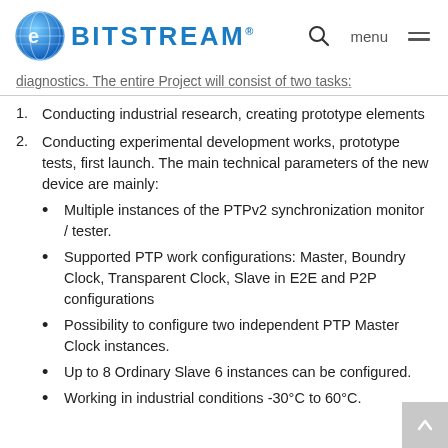BITSTREAM — logo header with search and menu
diagnostics. The entire Project will consist of two tasks:
1. Conducting industrial research, creating prototype elements
2. Conducting experimental development works, prototype tests, first launch. The main technical parameters of the new device are mainly:
Multiple instances of the PTPv2 synchronization monitor / tester.
Supported PTP work configurations: Master, Boundry Clock, Transparent Clock, Slave in E2E and P2P configurations
Possibility to configure two independent PTP Master Clock instances.
Up to 8 Ordinary Slave 6 instances can be configured.
Working in industrial conditions -30°C to 60°C.